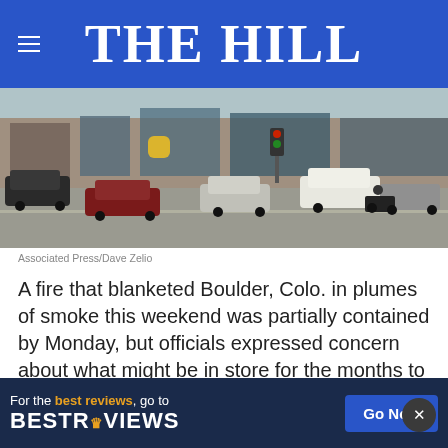THE HILL
[Figure (photo): Aerial or elevated view of a busy intersection/parking lot with multiple vehicles, storefronts in background, in Boulder, Colorado area.]
Associated Press/Dave Zelio
A fire that blanketed Boulder, Colo. in plumes of smoke this weekend was partially contained by Monday, but officials expressed concern about what might be in store for the months to come as “fire seasons” become an obsolete phenomenon in the western United States.
“There’s no longer a fire season,” incident comm... confe...
[Figure (infographic): Advertisement overlay: For the best reviews, go to BESTREVIEWS with a Go Now button on dark navy background.]